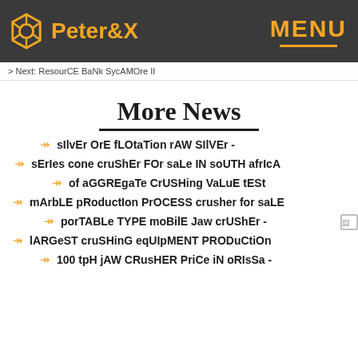Peter&X   MENU
> Next: ResourCE BaNk SycAMOre II
More News
sIlvEr OrE fLOtaTion rAW SIlVEr -
sErIes cone cruShEr FOr saLe IN soUTH afrIcA
of aGGREgaTe CrUSHing VaLuE tESt
mArbLE pRoductIon PrOCESS crusher for saLE
porTABLe TYPE moBilE Jaw crUShEr -
lARGeST cruSHinG eqUIpMENT PRODuCtiOn
100 tpH jAW CRusHER PriCe iN oRIsSa -